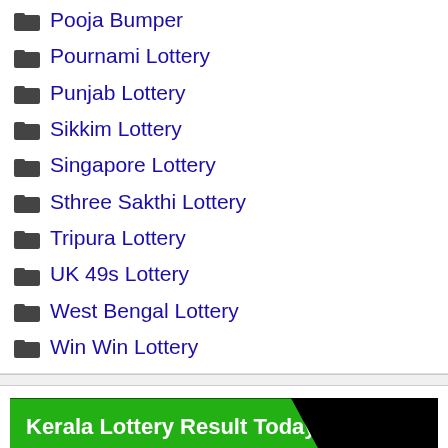Pooja Bumper
Pournami Lottery
Punjab Lottery
Sikkim Lottery
Singapore Lottery
Sthree Sakthi Lottery
Tripura Lottery
UK 49s Lottery
West Bengal Lottery
Win Win Lottery
[Figure (screenshot): Kerala Lottery Result Today banner with green and black background]
Win Win Result Today
Sthree Sakthi Result Today